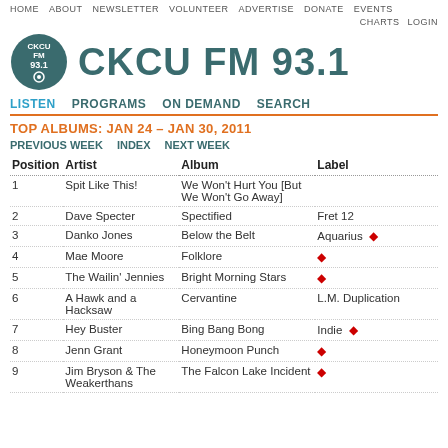HOME  ABOUT  NEWSLETTER  VOLUNTEER  ADVERTISE  DONATE  EVENTS  CHARTS  LOGIN
CKCU FM 93.1
LISTEN  PROGRAMS  ON DEMAND  SEARCH
TOP ALBUMS: JAN 24 – JAN 30, 2011
PREVIOUS WEEK  INDEX  NEXT WEEK
| Position | Artist | Album | Label |
| --- | --- | --- | --- |
| 1 | Spit Like This! | We Won't Hurt You [But We Won't Go Away] |  |
| 2 | Dave Specter | Spectified | Fret 12 |
| 3 | Danko Jones | Below the Belt | Aquarius ♦ |
| 4 | Mae Moore | Folklore | ♦ |
| 5 | The Wailin' Jennies | Bright Morning Stars | ♦ |
| 6 | A Hawk and a Hacksaw | Cervantine | L.M. Duplication |
| 7 | Hey Buster | Bing Bang Bong | Indie ♦ |
| 8 | Jenn Grant | Honeymoon Punch | ♦ |
| 9 | Jim Bryson & The Weakerthans | The Falcon Lake Incident | ♦ |